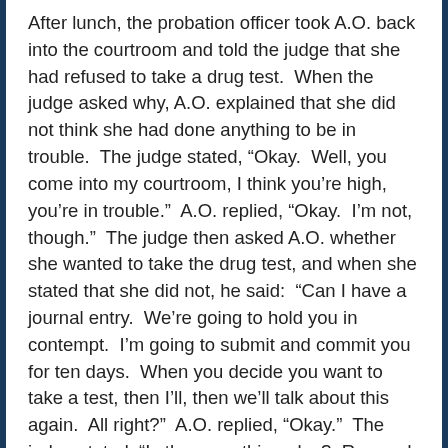After lunch, the probation officer took A.O. back into the courtroom and told the judge that she had refused to take a drug test.  When the judge asked why, A.O. explained that she did not think she had done anything to be in trouble.  The judge stated, “Okay.  Well, you come into my courtroom, I think you’re high, you’re in trouble.”  A.O. replied, “Okay.  I’m not, though.”  The judge then asked A.O. whether she wanted to take the drug test, and when she stated that she did not, he said:  “Can I have a journal entry.  We’re going to hold you in contempt.  I’m going to submit and commit you for ten days.  When you decide you want to take a test, then I’ll, then we’ll talk about this again.  All right?”  A.O. replied, “Okay.”  The judge stated, “Is there anything else?  Remand to custody.  You have the keys, [A.O.]”